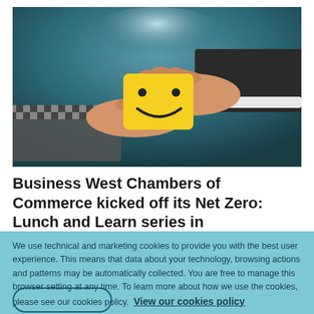[Figure (photo): Two hands exchanging a yellow card with a smiley face drawn on it, against a teal/dark background. Left hand wears a checkered sleeve, right hand wears a dark suit sleeve.]
Business West Chambers of Commerce kicked off its Net Zero: Lunch and Learn series in
We use technical and marketing cookies to provide you with the best user experience. This means that data about your technology, browsing actions and patterns may be automatically collected. You are free to manage this browser setting at any time. To learn more about how we use the cookies, please see our cookies policy. View our cookies policy